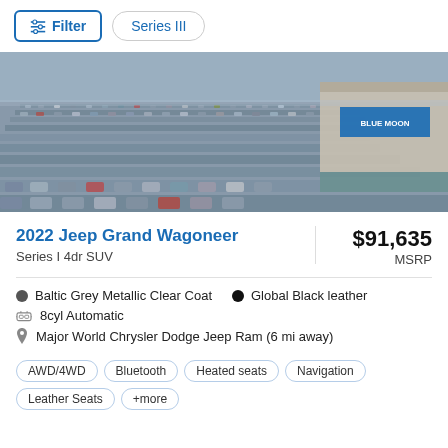Filter  Series III
[Figure (photo): Aerial view of a large car dealership lot filled with hundreds of vehicles in rows, with a dealership building visible in the upper right corner.]
2022 Jeep Grand Wagoneer
Series I 4dr SUV
$91,635 MSRP
Baltic Grey Metallic Clear Coat
Global Black leather
8cyl Automatic
Major World Chrysler Dodge Jeep Ram (6 mi away)
AWD/4WD  Bluetooth  Heated seats  Navigation  Leather Seats  +more